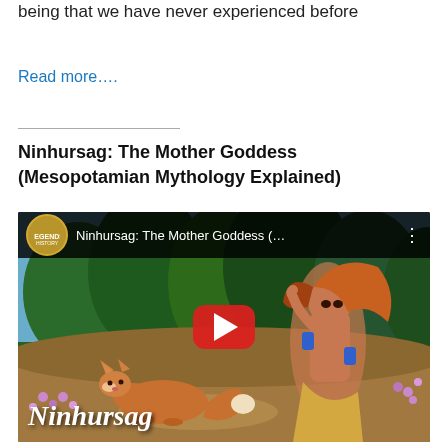being that we have never experienced before
Read more….
Ninhursag: The Mother Goddess (Mesopotamian Mythology Explained)
[Figure (screenshot): YouTube video thumbnail for 'Ninhursag: The Mother Goddess (...)' showing an illustrated goddess figure with a fox in a forest setting, with a YouTube play button overlay and the text 'Ninhursag' at the bottom left.]